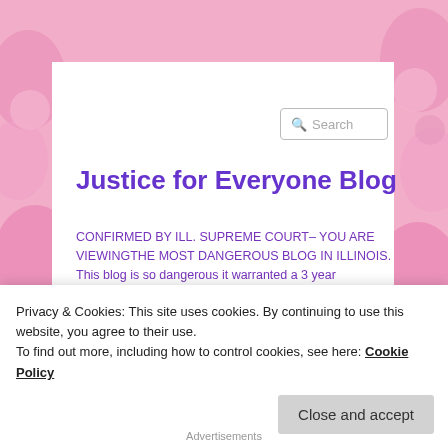[Figure (illustration): Pink floral decorative background with rose patterns visible on left and right sides behind white content card]
[Figure (screenshot): Search bar with magnifying glass icon and placeholder text 'Search']
Justice for Everyone Blog
CONFIRMED BY ILL. SUPREME COURT– YOU ARE VIEWINGTHE MOST DANGEROUS BLOG IN ILLINOIS. This blog is so dangerous it warranted a 3 year suspension by the IARDC and Jerome Larkin that crushes the dissent of honest attorneys–Denison, Ditkowsky and Amu! Our mottos: "Sunlight is the best disinfectant". Justice Louis Brandeis ; "If the truth can destroy something, then it deserves to be destroyed" Carl Sagan; "Justice is Truth in Action" Benjamin Disraeli. The more offensive the political speech, the more the Constitution must
Privacy & Cookies: This site uses cookies. By continuing to use this website, you agree to their use.
To find out more, including how to control cookies, see here: Cookie Policy
Close and accept
Advertisements